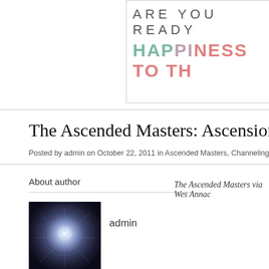[Figure (illustration): Blog banner partially visible showing 'ARE YOU READY' text and 'HAPPINESS TO TH...' in teal/pink/coral colors]
The Ascended Masters: Ascension N
Posted by admin on October 22, 2011 in Ascended Masters, Channelings · 2 Comments
About author
The Ascended Masters via Wes Annac
[Figure (photo): Admin avatar - circular light pattern on dark background]
admin
Share this article
Tweet this
Digg it